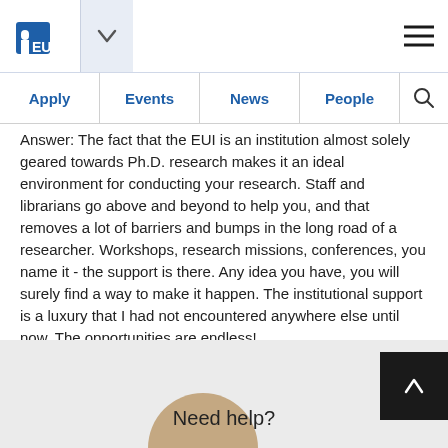EUI
Apply | Events | News | People
Answer: The fact that the EUI is an institution almost solely geared towards Ph.D. research makes it an ideal environment for conducting your research. Staff and librarians go above and beyond to help you, and that removes a lot of barriers and bumps in the long road of a researcher. Workshops, research missions, conferences, you name it - the support is there. Any idea you have, you will surely find a way to make it happen. The institutional support is a luxury that I had not encountered anywhere else until now. The opportunities are endless!
Ana Maria Spariosu, EUI Department of History and Civilization researcher, from Romania
Need help?